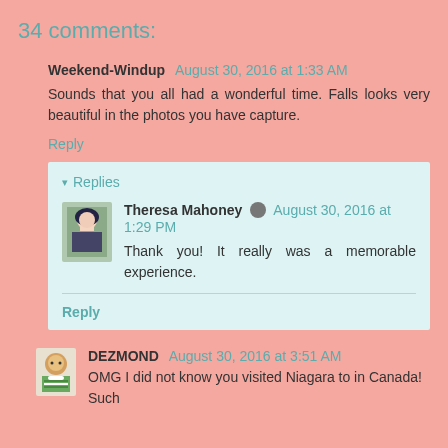34 comments:
Weekend-Windup August 30, 2016 at 1:33 AM
Sounds that you all had a wonderful time. Falls looks very beautiful in the photos you have capture.
Reply
Replies
Theresa Mahoney August 30, 2016 at 1:29 PM
Thank you! It really was a memorable experience.
Reply
DEZMOND August 30, 2016 at 3:51 AM
OMG I did not know you visited Niagara to in Canada! Such